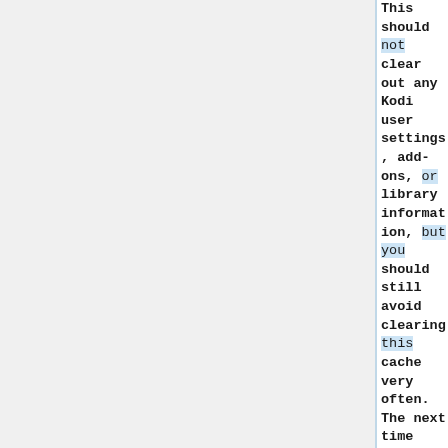This should not clear out any Kodi user settings, add-ons, or library information, but you should still avoid clearing this cache very often. The next time that Kodi is ran you will see a "first run" screen, where it